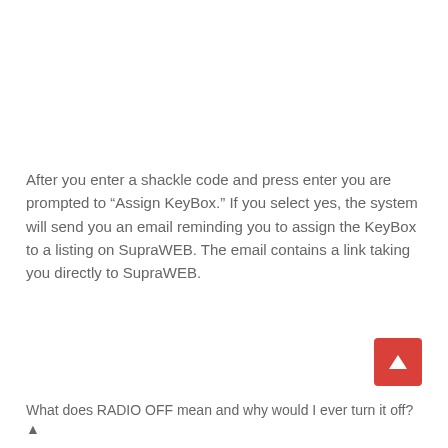After you enter a shackle code and press enter you are prompted to “Assign KeyBox.” If you select yes, the system will send you an email reminding you to assign the KeyBox to a listing on SupraWEB. The email contains a link taking you directly to SupraWEB.
[Figure (other): Red rounded square button with a white upward-pointing triangle (scroll-to-top button)]
What does RADIO OFF mean and why would I ever turn it off? ▲